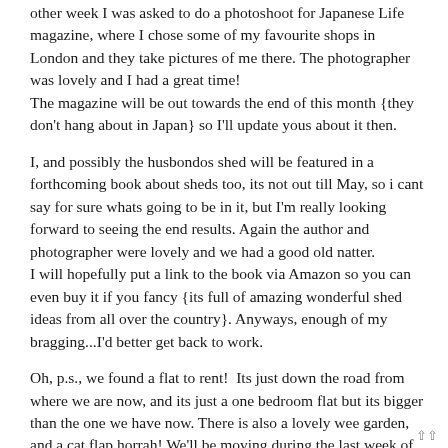other week I was asked to do a photoshoot for Japanese Life magazine, where I chose some of my favourite shops in London and they take pictures of me there. The photographer was lovely and I had a great time!
The magazine will be out towards the end of this month {they don't hang about in Japan} so I'll update yous about it then.
I, and possibly the husbondos shed will be featured in a forthcoming book about sheds too, its not out till May, so i cant say for sure whats going to be in it, but I'm really looking forward to seeing the end results. Again the author and photographer were lovely and we had a good old natter.
I will hopefully put a link to the book via Amazon so you can even buy it if you fancy {its full of amazing wonderful shed ideas from all over the country}. Anyways, enough of my bragging...I'd better get back to work.
Oh, p.s., we found a flat to rent!  Its just down the road from where we are now, and its just a one bedroom flat but its bigger than the one we have now. There is also a lovely wee garden, and a cat flap horrah! We'll be moving during the last week of April.